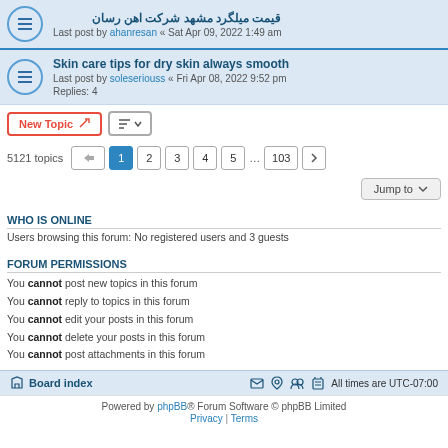قیمت میلگرد مشهد شرکت اهن رسان - Last post by ahanresan « Sat Apr 09, 2022 1:49 am
Skin care tips for dry skin always smooth - Last post by soleseriouss « Fri Apr 08, 2022 9:52 pm - Replies: 4
New Topic | sort button | 5121 topics | page 1 2 3 4 5 ... 103 | Jump to
WHO IS ONLINE
Users browsing this forum: No registered users and 3 guests
FORUM PERMISSIONS
You cannot post new topics in this forum
You cannot reply to topics in this forum
You cannot edit your posts in this forum
You cannot delete your posts in this forum
You cannot post attachments in this forum
Board index | All times are UTC-07:00 | Powered by phpBB® Forum Software © phpBB Limited | Privacy | Terms